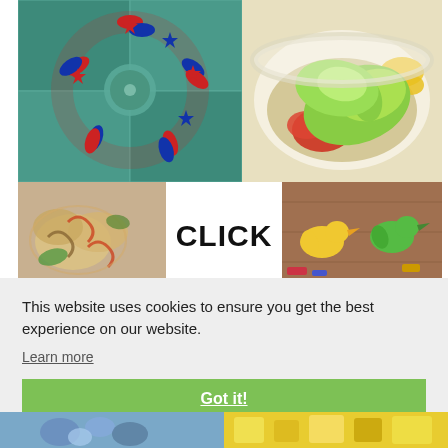[Figure (photo): Patriotic ribbon and star wreath with red white and blue colors on teal background]
[Figure (photo): Bowl of rice topped with avocado slices, tomato salsa, and yellow corn]
[Figure (photo): Colorful rotini pasta salad]
[Figure (other): Large bold text reading CLICK]
[Figure (photo): Colorful craft bird cutouts on wooden background]
This website uses cookies to ensure you get the best experience on our website.
Learn more
Got it!
[Figure (photo): Blue speckled eggs or candies in a bowl]
[Figure (photo): Yellow and green decorative items on bright background]